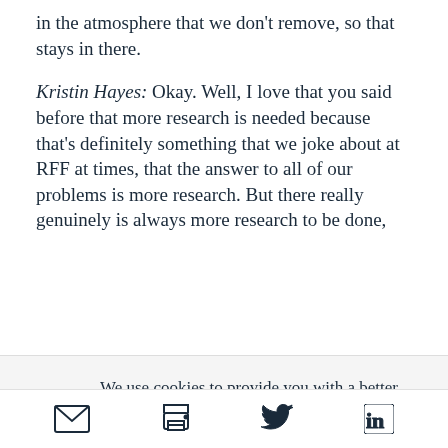in the atmosphere that we don't remove, so that stays in there.
Kristin Hayes: Okay. Well, I love that you said before that more research is needed because that's definitely something that we joke about at RFF at times, that the answer to all of our problems is more research. But there really genuinely is always more research to be done,
We use cookies to provide you with a better service. Carry on browsing if you're happy with this, or find out more.